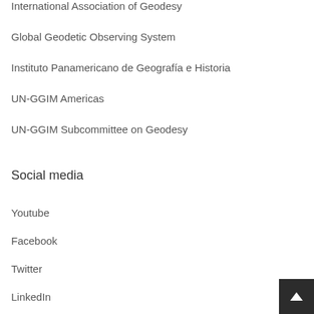International Association of Geodesy
Global Geodetic Observing System
Instituto Panamericano de Geografía e Historia
UN-GGIM Americas
UN-GGIM Subcommittee on Geodesy
Social media
Youtube
Facebook
Twitter
LinkedIn